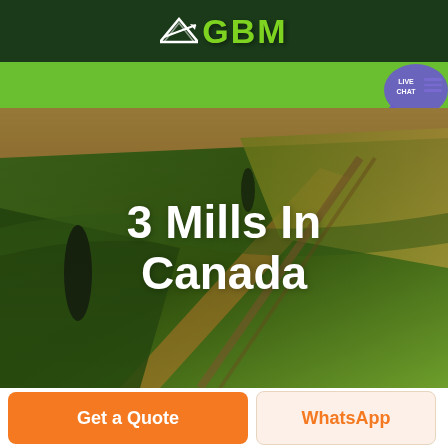[Figure (logo): GBM company logo with green arrow/mountain symbol and green GBM text on dark green background]
[Figure (screenshot): Green navigation bar with hamburger menu and Live Chat button/bubble on the right]
[Figure (photo): Aerial photo of rolling green agricultural fields with trees, warm sunset lighting]
3 Mills In Canada
[Figure (other): Get a Quote orange button and WhatsApp cream/orange button at the bottom]